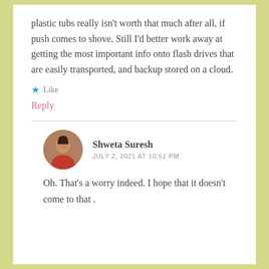plastic tubs really isn't worth that much after all, if push comes to shove. Still I'd better work away at getting the most important info onto flash drives that are easily transported, and backup stored on a cloud.
★ Like
Reply
Shweta Suresh
JULY 2, 2021 AT 10:51 PM
Oh. That's a worry indeed. I hope that it doesn't come to that .